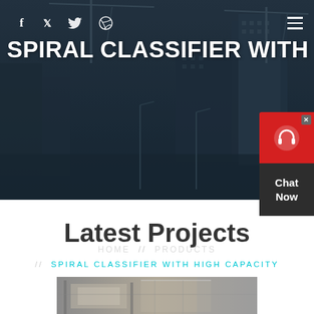[Figure (photo): Hero banner with dark blue-tinted construction site background showing cranes and buildings under construction]
f  twitter  dribbble  ≡
SPIRAL CLASSIFIER WITH HIGH
HOME // PRODUCTS // SPIRAL CLASSIFIER WITH HIGH CAPACITY
[Figure (illustration): Chat Now widget with red top section showing headphone icon and dark bottom section with Chat Now text]
Latest Projects
[Figure (photo): Industrial facility interior showing construction equipment and machinery]